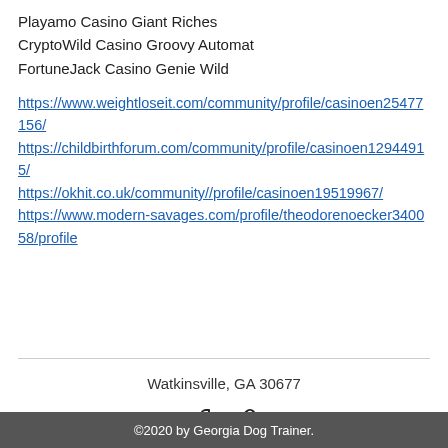Playamo Casino Giant Riches
CryptoWild Casino Groovy Automat
FortuneJack Casino Genie Wild
https://www.weightloseit.com/community/profile/casinoen25477156/ https://childbirthforum.com/community/profile/casinoen12944915/ https://okhit.co.uk/community//profile/casinoen19519967/ https://www.modern-savages.com/profile/theodorenoecker340058/profile
Watkinsville, GA 30677
©2020 by Georgia Dog Trainer.